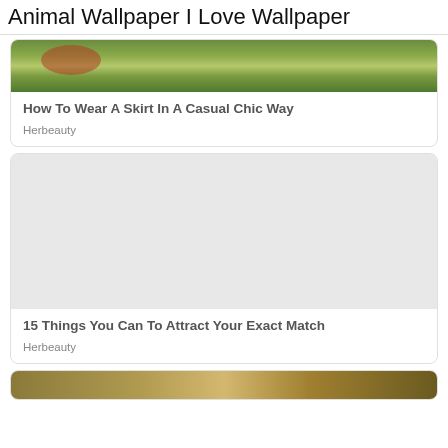Animal Wallpaper I Love Wallpaper
[Figure (photo): Partial nature/garden photo showing grass and flowers at top of first card]
How To Wear A Skirt In A Casual Chic Way
Herbeauty
[Figure (photo): Large blank/grey image area for second card]
15 Things You Can To Attract Your Exact Match
Herbeauty
[Figure (photo): Partial animal photo visible at bottom of page]